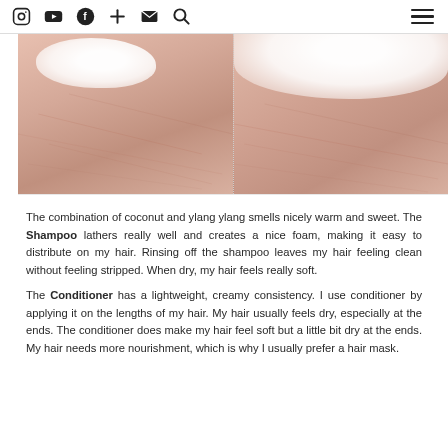Instagram, YouTube, Facebook, Plus, Email, Search, Menu
[Figure (photo): Two close-up side-by-side photos of hands holding creamy white hair product/foam against skin, showing gel on left and foam on right]
The combination of coconut and ylang ylang smells nicely warm and sweet. The Shampoo lathers really well and creates a nice foam, making it easy to distribute on my hair. Rinsing off the shampoo leaves my hair feeling clean without feeling stripped. When dry, my hair feels really soft.
The Conditioner has a lightweight, creamy consistency. I use conditioner by applying it on the lengths of my hair. My hair usually feels dry, especially at the ends. The conditioner does make my hair feel soft but a little bit dry at the ends. My hair needs more nourishment, which is why I usually prefer a hair mask.